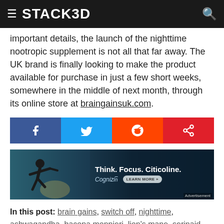STACK3D
important details, the launch of the nighttime nootropic supplement is not all that far away. The UK brand is finally looking to make the product available for purchase in just a few short weeks, somewhere in the middle of next month, through its online store at braingainsuk.com.
[Figure (infographic): Social share buttons: Facebook (blue), Twitter (light blue), Reddit (orange), Share (red)]
[Figure (infographic): Advertisement banner for Cognizin Citicoline: Think. Focus. Citicoline. with athlete photo and Learn More button]
In this post: brain gains, switch off, nighttime, ashwagandha, bacopa monnieri, lion's mane, serinaid, theanine